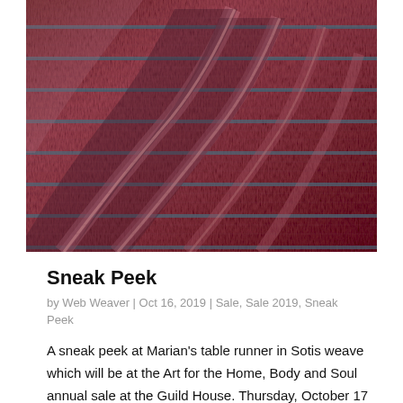[Figure (photo): Close-up photo of folded knitted/woven fabric in dusty rose/mauve color with thin dark teal/blue horizontal stripes, showing texture of the weave]
Sneak Peek
by Web Weaver | Oct 16, 2019 | Sale, Sale 2019, Sneak Peek
A sneak peek at Marian's table runner in Sotis weave which will be at the Art for the Home, Body and Soul annual sale at the Guild House. Thursday, October 17 (7 – 9 pm) Friday and Saturday, October 18 & 19 (10